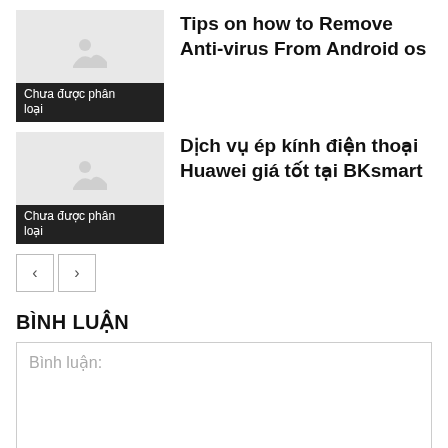[Figure (photo): Thumbnail image placeholder with label 'Chưa được phân loại']
Tips on how to Remove Anti-virus From Android os
[Figure (photo): Thumbnail image placeholder with label 'Chưa được phân loại']
Dịch vụ ép kính điện thoại Huawei giá tốt tại BKsmart
< >
BÌNH LUẬN
Bình luận: